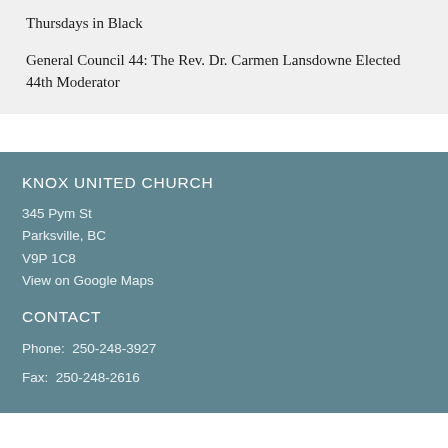Thursdays in Black
General Council 44: The Rev. Dr. Carmen Lansdowne Elected 44th Moderator
KNOX UNITED CHURCH
345 Pym St
Parksville, BC
V9P 1C8
View on Google Maps
CONTACT
Phone:  250-248-3927
Fax:  250-248-2616